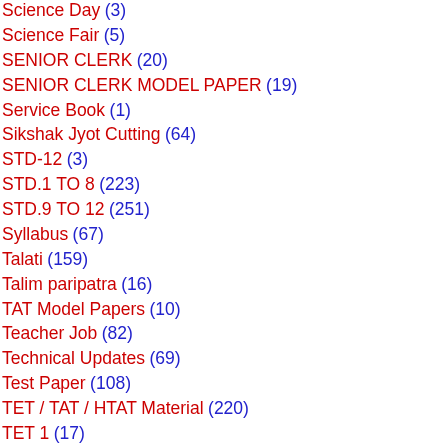Science Day (3)
Science Fair (5)
SENIOR CLERK (20)
SENIOR CLERK MODEL PAPER (19)
Service Book (1)
Sikshak Jyot Cutting (64)
STD-12 (3)
STD.1 TO 8 (223)
STD.9 TO 12 (251)
Syllabus (67)
Talati (159)
Talim paripatra (16)
TAT Model Papers (10)
Teacher Job (82)
Technical Updates (69)
Test Paper (108)
TET / TAT / HTAT Material (220)
TET 1 (17)
Tet Model Papers (39)